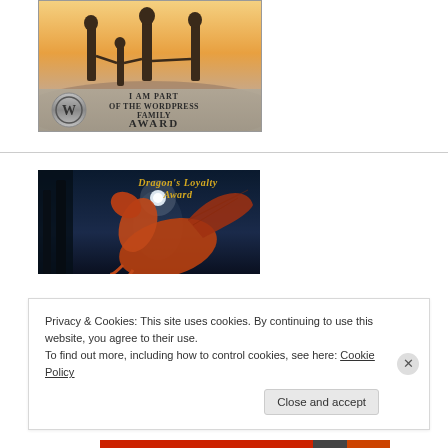[Figure (illustration): WordPress Family Award badge showing silhouettes of family figures against a sunset sky background, with WordPress logo and text 'I AM PART OF THE WORDPRESS FAMILY AWARD']
[Figure (illustration): Dragon's Loyalty Award image showing a dragon in a dark blue/purple forest scene with glowing moon and text 'Dragon's Loyalty Award']
Privacy & Cookies: This site uses cookies. By continuing to use this website, you agree to their use.
To find out more, including how to control cookies, see here: Cookie Policy
Close and accept